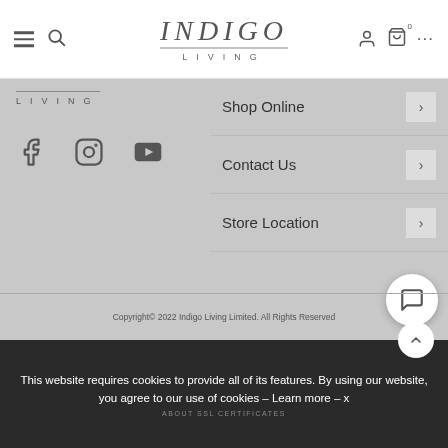[Figure (logo): Indigo Living logo in header — stylized italic INDIGO text with LIVING letterspaced below]
[Figure (logo): Indigo Living sub-logo in left panel — LIVING letterspaced with horizontal rule above]
[Figure (infographic): Social media icons: Facebook, Instagram, YouTube]
Shop Online
Contact Us
Store Location
Copyright© 2022 Indigo Living Limited. All Rights Reserved
This website requires cookies to provide all of its features. By using our website, you agree to our use of cookies – Learn more – x
ABOUT SSL CERTIFICATES